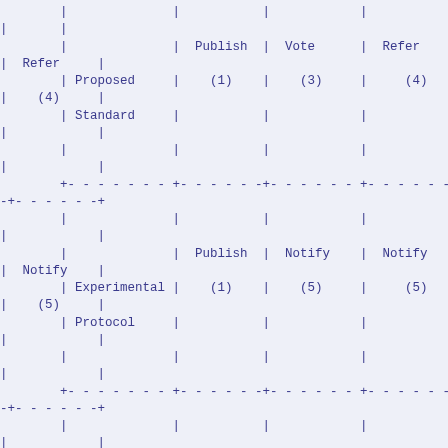|  | Publish (1) | Vote (3) | Refer (4) | Refer (4) |
| --- | --- | --- | --- | --- |
| Proposed Standard | (1) | (3) | (4) | (4) |
| Experimental Protocol | (1) | (5) | (5) | (5) |
| or Opinion | (1) | (6) | (6) | (6) |